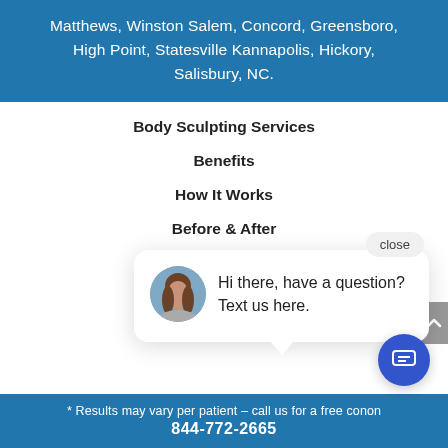Matthews, Winston Salem, Concord, Greensboro, High Point, Statesville Kannapolis, Hickory, Salisbury, NC.
Body Sculpting Services
Benefits
How It Works
Before & After
Contact
[Figure (screenshot): Chat popup widget with avatar photo of a woman, close button, and message: Hi there, have a question? Text us here.]
* Results may vary per patient – call us for a free consultation 844-772-2665